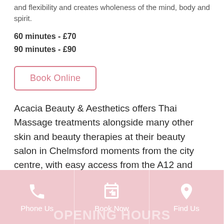and flexibility and creates wholeness of the mind, body and spirit.
60 minutes - £70
90 minutes - £90
Book Online
Acacia Beauty & Aesthetics offers Thai Massage treatments alongside many other skin and beauty therapies at their beauty salon in Chelmsford moments from the city centre, with easy access from the A12 and A13 with free car parking on-site. Book your appointment online or call us on 01245 478620.
Phone Us | Book Now | Find Us